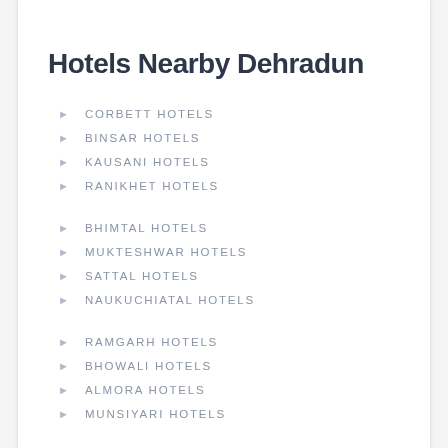Hotels Nearby Dehradun
CORBETT HOTELS
BINSAR HOTELS
KAUSANI HOTELS
RANIKHET HOTELS
BHIMTAL HOTELS
MUKTESHWAR HOTELS
SATTAL HOTELS
NAUKUCHIATAL HOTELS
RAMGARH HOTELS
BHOWALI HOTELS
ALMORA HOTELS
MUNSIYARI HOTELS